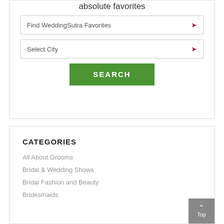absolute favorites
Find WeddingSutra Favorites
Select City
SEARCH
CATEGORIES
All About Grooms
Bridal & Wedding Shows
Bridal Fashion and Beauty
Bridesmaids